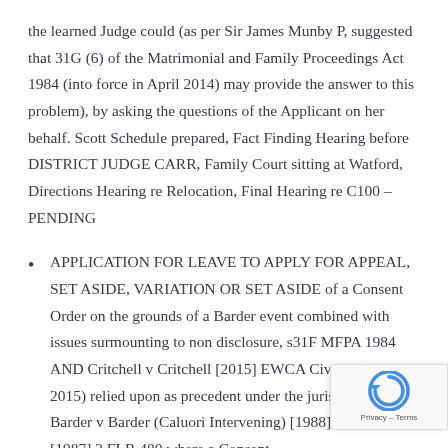the learned Judge could (as per Sir James Munby P, suggested that 31G (6) of the Matrimonial and Family Proceedings Act 1984 (into force in April 2014) may provide the answer to this problem), by asking the questions of the Applicant on her behalf. Scott Schedule prepared, Fact Finding Hearing before DISTRICT JUDGE CARR, Family Court sitting at Watford, Directions Hearing re Relocation, Final Hearing re C100 – PENDING
APPLICATION FOR LEAVE TO APPLY FOR APPEAL, SET ASIDE, VARIATION OR SET ASIDE of a Consent Order on the grounds of a Barder event combined with issues surmounting to non disclosure, s31F MFPA 1984 AND Critchell v Critchell [2015] EWCA Civ 436 (30 April 2015) relied upon as precedent under the jurisdiction in Barder v Barder (Caluori Intervening) [1988] AC 20, [1987] 2 FLR 480 where a Consent